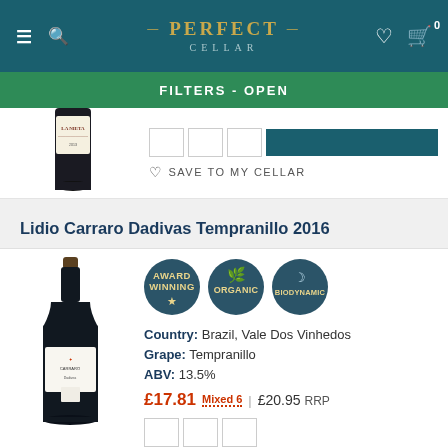Perfect Cellar
FILTERS - OPEN
[Figure (photo): Partial wine bottle image for La Nieta product, showing bottom half of dark glass bottle with label]
SAVE TO MY CELLAR
Lidio Carraro Dadivas Tempranillo 2016
[Figure (infographic): Three circular badges: Award Winning, Organic, Biodynamic]
Country: Brazil, Vale Dos Vinhedos
Grape: Tempranillo
ABV: 13.5%
£17.81 Mixed 6 | £20.95 RRP
[Figure (photo): Wine bottle for Lidio Carraro Dadivas Tempranillo 2016, dark bottle with dark label]